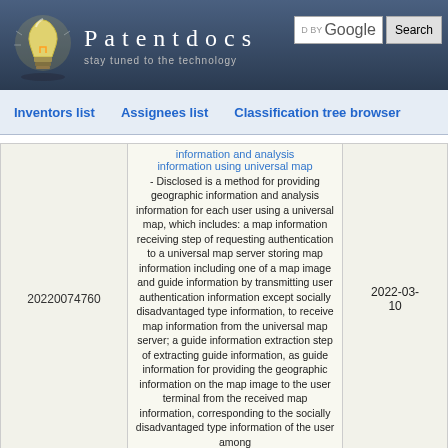Patentdocs — stay tuned to the technology
Inventors list   Assignees list   Classification tree browser
|  | Patent Number | Abstract | Date |
| --- | --- | --- | --- |
|  | 20220074760 | information and analysis information using universal map - Disclosed is a method for providing geographic information and analysis information for each user using a universal map, which includes: a map information receiving step of requesting authentication to a universal map server storing map information including one of a map image and guide information by transmitting user authentication information except socially disadvantaged type information, to receive map information from the universal map server; a guide information extraction step of extracting guide information, as guide information for providing the geographic information on the map image to the user terminal from the received map information, corresponding to the socially disadvantaged type information of the user among | 2022-03-10 |